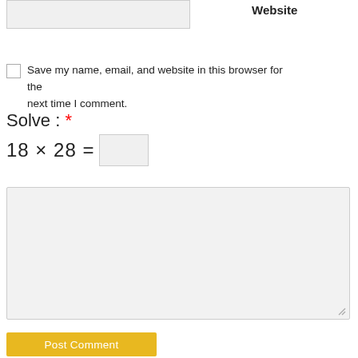Website
Save my name, email, and website in this browser for the next time I comment.
Solve : *
Post Comment